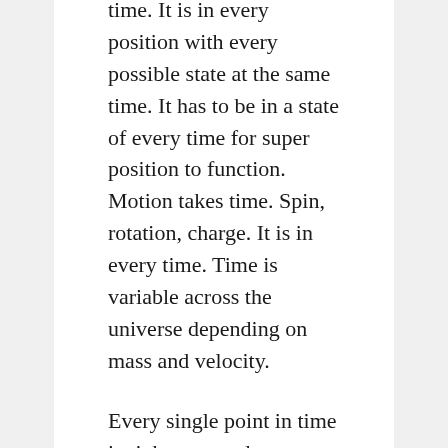...something is in super position it is every time. It is in every position with every possible state at the same time. It has to be in a state of every time for super position to function. Motion takes time. Spin, rotation, charge. It is in every time. Time is variable across the universe depending on mass and velocity.
Every single point in time is right now and every place is right here. Every time and place is right here right now.
Super position could never exist and quantum computers could never work if this wasn't true.
This is completely unfinished. Just some thoughts that may get your imagination